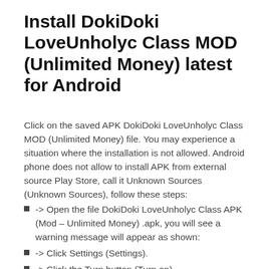Install DokiDoki LoveUnholyc Class MOD (Unlimited Money) latest for Android
Click on the saved APK DokiDoki LoveUnholyc Class MOD (Unlimited Money) file. You may experience a situation where the installation is not allowed. Android phone does not allow to install APK from external source Play Store, call it Unknown Sources (Unknown Sources), follow these steps:
-> Open the file DokiDoki LoveUnholyc Class APK (Mod – Unlimited Money) .apk, you will see a warning message will appear as shown:
-> Click Settings (Settings).
-> Click the Turn button (Turn on).